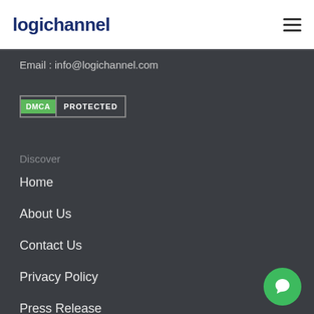logichannel
Email : info@logichannel.com
[Figure (logo): DMCA Protected badge with green DMCA label and PROTECTED text]
Discover
Home
About Us
Contact Us
Privacy Policy
Press Release